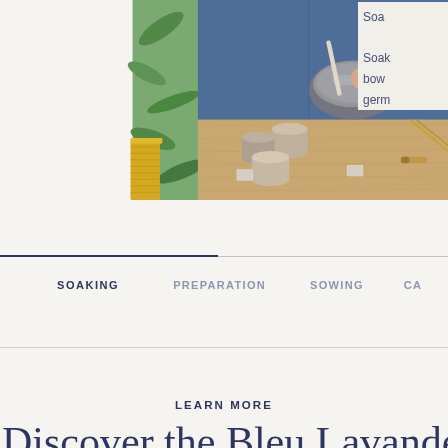[Figure (photo): A person in a denim shirt using tools to work with seeds/craft materials in a metal bowl on a wooden table. Several ceramic cups and seed packets are arranged on the table. Green plants visible in background.]
Soa

Soak
bow
germ
SOAKING    PREPARATION    SOWING    CA
LEARN MORE
Discover the Bleu Lavande